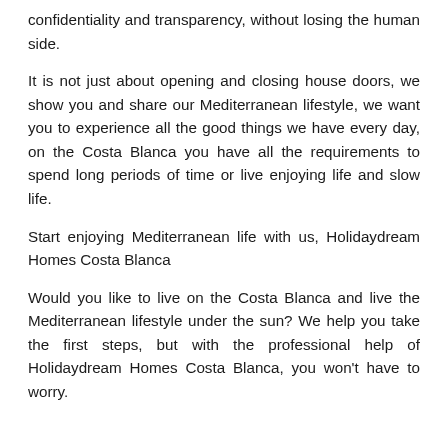confidentiality and transparency, without losing the human side.
It is not just about opening and closing house doors, we show you and share our Mediterranean lifestyle, we want you to experience all the good things we have every day, on the Costa Blanca you have all the requirements to spend long periods of time or live enjoying life and slow life.
Start enjoying Mediterranean life with us, Holidaydream Homes Costa Blanca
Would you like to live on the Costa Blanca and live the Mediterranean lifestyle under the sun? We help you take the first steps, but with the professional help of Holidaydream Homes Costa Blanca, you won't have to worry.